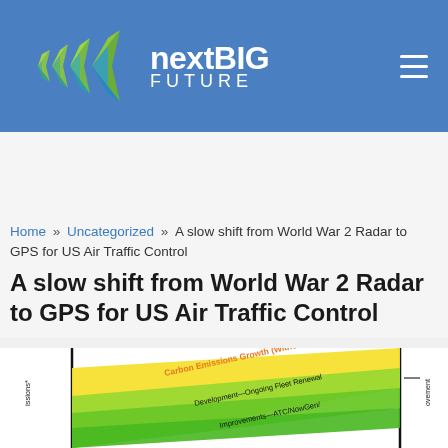[Figure (logo): nextBIG FUTURE website logo with green/teal geometric arrow shapes on blue header background]
Home » Uncategorized » A slow shift from World War 2 Radar to GPS for US Air Traffic Control
A slow shift from World War 2 Radar to GPS for US Air Traffic Control
[Figure (area-chart): Partial area chart visible at bottom of page showing carbon emissions growth with and without improvements, including fleet renewal and ATC/NowGen improvements. Shows yellow/green gradient bands with diagonal text labels.]